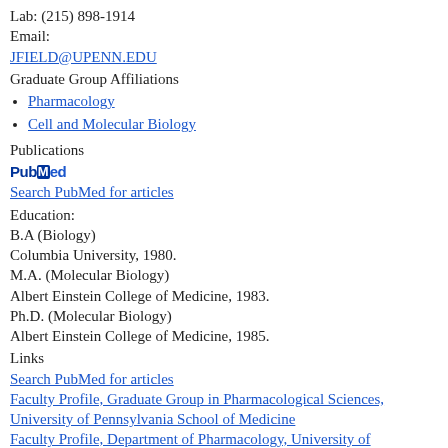Lab: (215) 898-1914
Email:
JFIELD@UPENN.EDU
Graduate Group Affiliations
Pharmacology
Cell and Molecular Biology
Publications
[Figure (logo): PubMed logo]
Search PubMed for articles
Education:
B.A (Biology)
Columbia University, 1980.
M.A. (Molecular Biology)
Albert Einstein College of Medicine, 1983.
Ph.D. (Molecular Biology)
Albert Einstein College of Medicine, 1985.
Links
Search PubMed for articles
Faculty Profile, Graduate Group in Pharmacological Sciences, University of Pennsylvania School of Medicine
Faculty Profile, Department of Pharmacology, University of Pennsylvania School of Medicine
Faculty Profile, Graduate Group in Cell and Molecular Biology, University of Pennsylvania School of Medicine